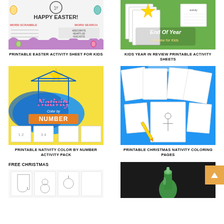[Figure (illustration): Printable Easter Activity Sheet for Kids - word scramble worksheet with Easter eggs motif]
PRINTABLE EASTER ACTIVITY SHEET FOR KIDS
[Figure (illustration): Kids Year in Review Printable Activity Sheets - colorful illustrated cover with star character]
KIDS YEAR IN REVIEW PRINTABLE ACTIVITY SHEETS
[Figure (illustration): Printable Nativity Color by Number Activity Pack - blue and yellow themed cover with nativity scene]
PRINTABLE NATIVITY COLOR BY NUMBER ACTIVITY PACK
[Figure (illustration): Printable Christmas Nativity Coloring Pages - coloring pages spread on blue background]
PRINTABLE CHRISTMAS NATIVITY COLORING PAGES
[Figure (illustration): Free Christmas activity sheets - partial image showing coloring pages]
FREE CHRISTMAS
[Figure (photo): Dark photo with green bottle/container visible]